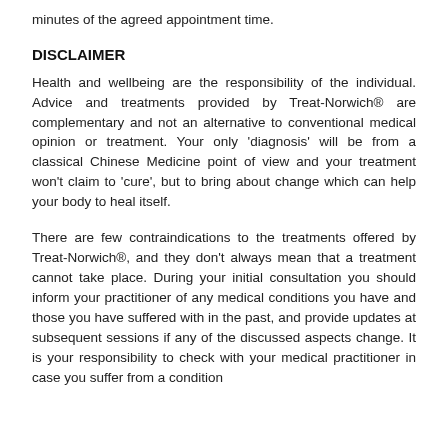minutes of the agreed appointment time.
DISCLAIMER
Health and wellbeing are the responsibility of the individual. Advice and treatments provided by Treat-Norwich® are complementary and not an alternative to conventional medical opinion or treatment. Your only 'diagnosis' will be from a classical Chinese Medicine point of view and your treatment won't claim to 'cure', but to bring about change which can help your body to heal itself.
There are few contraindications to the treatments offered by Treat-Norwich®, and they don't always mean that a treatment cannot take place. During your initial consultation you should inform your practitioner of any medical conditions you have and those you have suffered with in the past, and provide updates at subsequent sessions if any of the discussed aspects change. It is your responsibility to check with your medical practitioner in case you suffer from a condition